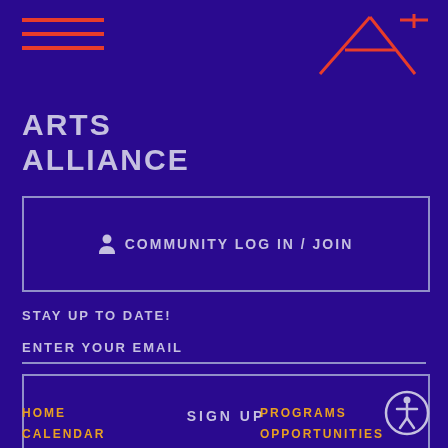[Figure (logo): Hamburger menu icon with three red horizontal lines]
[Figure (logo): A4 Arts Alliance geometric logo in red/orange lines forming letter A and 4 with plus sign]
ARTS ALLIANCE
COMMUNITY LOG IN / JOIN
STAY UP TO DATE!
ENTER YOUR EMAIL
SIGN UP
HOME  PROGRAMS  CALENDAR  OPPORTUNITIES